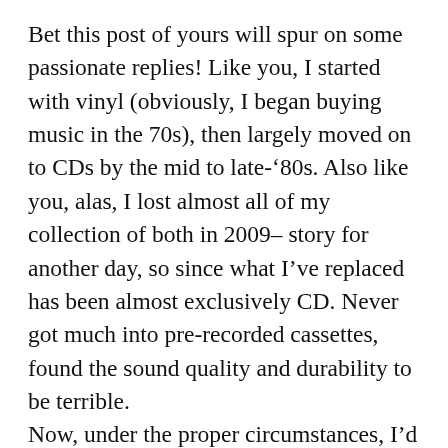Bet this post of yours will spur on some passionate replies! Like you, I started with vinyl (obviously, I began buying music in the 70s), then largely moved on to CDs by the mid to late-’80s. Also like you, alas, I lost almost all of my collection of both in 2009– story for another day, so since what I’ve replaced has been almost exclusively CD. Never got much into pre-recorded cassettes, found the sound quality and durability to be terrible.
Now, under the proper circumstances, I’d say CDs are best. I may have said once before one of the things tthat got me to buy a CD player early on in the technology was having a friend play Simon & Garfunkel’s Greatest Hits on CD, just after I heard it on LP. The difference was